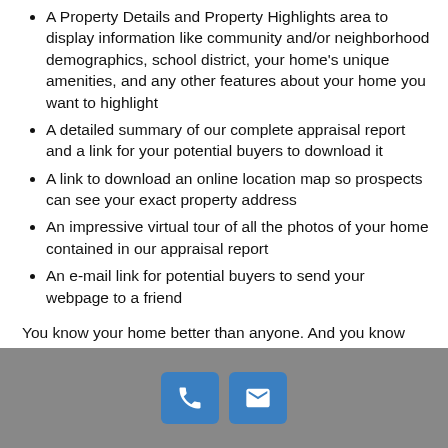A Property Details and Property Highlights area to display information like community and/or neighborhood demographics, school district, your home's unique amenities, and any other features about your home you want to highlight
A detailed summary of our complete appraisal report and a link for your potential buyers to download it
A link to download an online location map so prospects can see your exact property address
An impressive virtual tour of all the photos of your home contained in our appraisal report
An e-mail link for potential buyers to send your webpage to a friend
You know your home better than anyone. And you know what features to highlight and what features you might want to downplay. So let us help you get the exposure your home deserves.
[Figure (infographic): Gray footer bar with two blue icon buttons: a phone icon and an envelope/email icon]